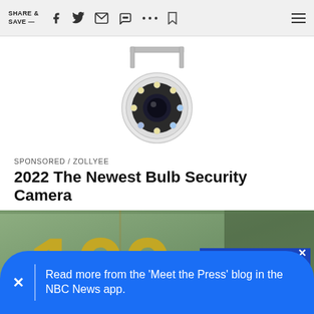SHARE & SAVE —
[Figure (photo): Security camera product image — dome-style camera with bracket, showing circular LED ring around lens, white housing]
SPONSORED / ZOLLYEE
2022 The Newest Bulb Security Camera
[Figure (photo): Close-up photo of a US $100 dollar bill showing '100' in large gold numerals]
[Figure (screenshot): Blue video player overlay with muted speaker icon and text TAP TO UNMUTE]
Read more from the 'Meet the Press' blog in the NBC News app.